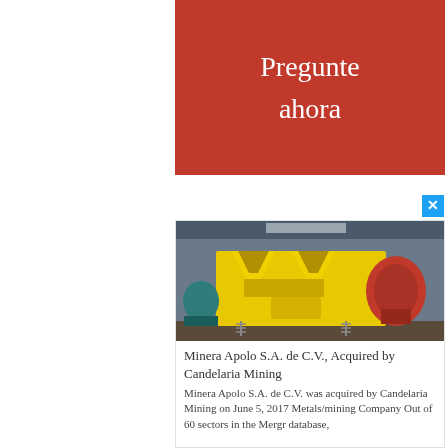[Figure (other): Red button with white text reading 'Pregunte ahora' (Ask now)]
[Figure (photo): Yellow industrial mining machine (jig separator or vibrating screen) in a warehouse/factory setting, with red machinery visible in the background]
Minera Apolo S.A. de C.V., Acquired by Candelaria Mining
Minera Apolo S.A. de C.V. was acquired by Candelaria Mining on June 5, 2017 Metals/mining Company Out of 60 sectors in the Mergr database,